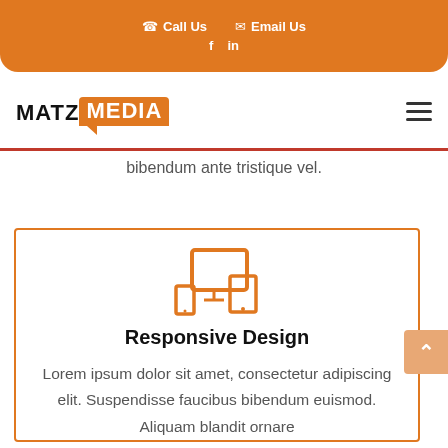Call Us  Email Us  f  in
[Figure (logo): MATZ MEDIA logo with orange speech bubble background on MEDIA text]
bibendum ante tristique vel.
[Figure (illustration): Responsive design icon showing desktop monitor, tablet, and mobile phone in orange]
Responsive Design
Lorem ipsum dolor sit amet, consectetur adipiscing elit. Suspendisse faucibus bibendum euismod. Aliquam blandit ornare ante tristique vel.